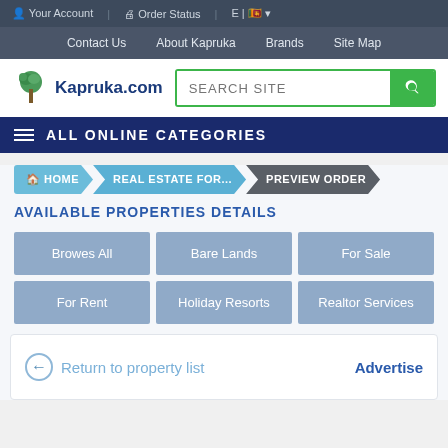Your Account | Order Status | E | [language]
Contact Us  About Kapruka  Brands  Site Map
[Figure (logo): Kapruka.com logo with tree icon]
ALL ONLINE CATEGORIES
HOME > REAL ESTATE FOR... > PREVIEW ORDER
AVAILABLE PROPERTIES DETAILS
Browes All
Bare Lands
For Sale
For Rent
Holiday Resorts
Realtor Services
← Return to property list    Advertise